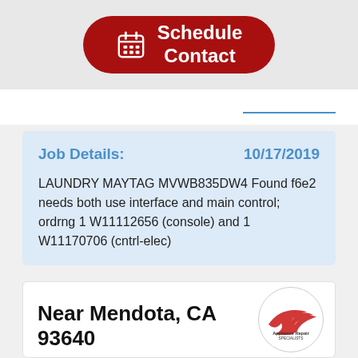[Figure (other): Red rounded button with calendar icon and text 'Schedule Contact']
Job Details:   10/17/2019
LAUNDRY MAYTAG MVWB835DW4 Found f6e2 needs both use interface and main control; ordrng 1 W11112656 (console) and 1 W11170706 (cntrl-elec)
Near Mendota, CA